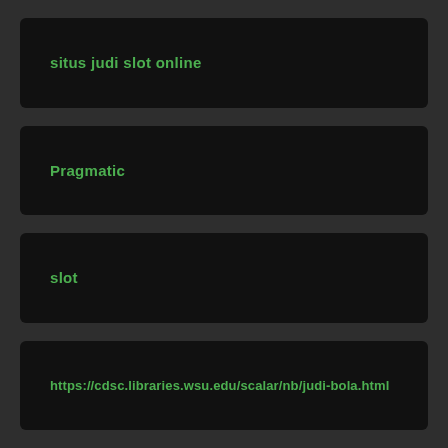situs judi slot online
Pragmatic
slot
https://cdsc.libraries.wsu.edu/scalar/nb/judi-bola.html